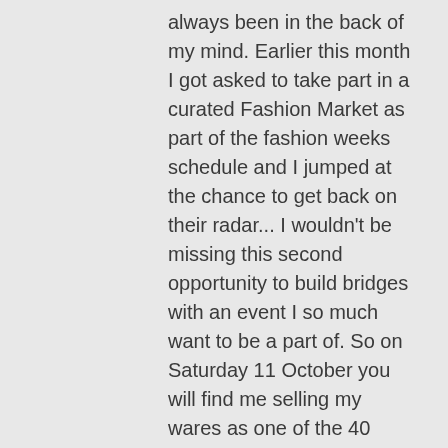always been in the back of my mind. Earlier this month I got asked to take part in a curated Fashion Market as part of the fashion weeks schedule and I jumped at the chance to get back on their radar... I wouldn't be missing this second opportunity to build bridges with an event I so much want to be a part of. So on Saturday 11 October you will find me selling my wares as one of the 40 handpicked artists and makers. I will be selling artwork, jewellery and lingerie as well as advertising my lingerie service and taking orders. I've posted the info as an event so if you're able to come down and say hi, it would be lovely to see some familiar faces ( I have even